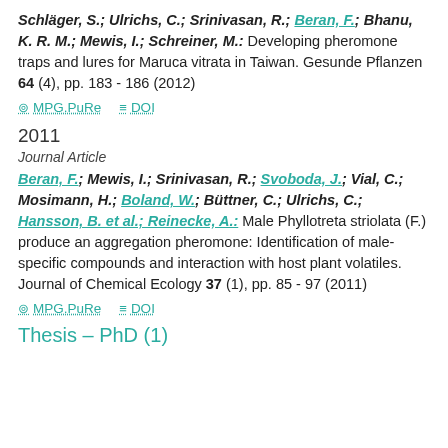Schläger, S.; Ulrichs, C.; Srinivasan, R.; Beran, F.; Bhanu, K. R. M.; Mewis, I.; Schreiner, M.: Developing pheromone traps and lures for Maruca vitrata in Taiwan. Gesunde Pflanzen 64 (4), pp. 183 - 186 (2012)
MPG.PuRe   DOI
2011
Journal Article
Beran, F.; Mewis, I.; Srinivasan, R.; Svoboda, J.; Vial, C.; Mosimann, H.; Boland, W.; Büttner, C.; Ulrichs, C.; Hansson, B. et al.; Reinecke, A.: Male Phyllotreta striolata (F.) produce an aggregation pheromone: Identification of male-specific compounds and interaction with host plant volatiles. Journal of Chemical Ecology 37 (1), pp. 85 - 97 (2011)
MPG.PuRe   DOI
Thesis – PhD (1)